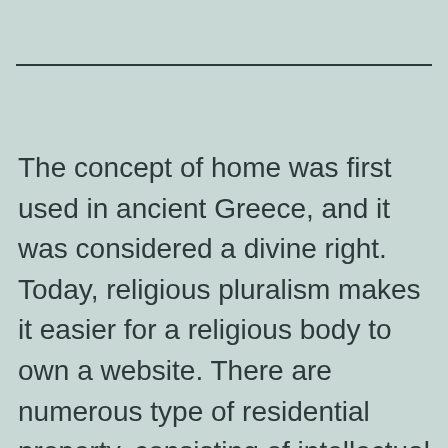The concept of home was first used in ancient Greece, and it was considered a divine right. Today, religious pluralism makes it easier for a religious body to own a website. There are numerous type of residential property, consisting of intellectual property and also even air contamination civil liberties. Both kinds of home can be held individually, such as land as well as mineral civil liberties. On top of